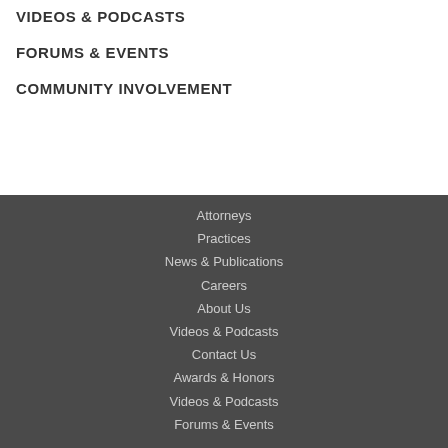VIDEOS & PODCASTS
FORUMS & EVENTS
COMMUNITY INVOLVEMENT
Attorneys
Practices
News & Publications
Careers
About Us
Videos & Podcasts
Contact Us
Awards & Honors
Videos & Podcasts
Forums & Events